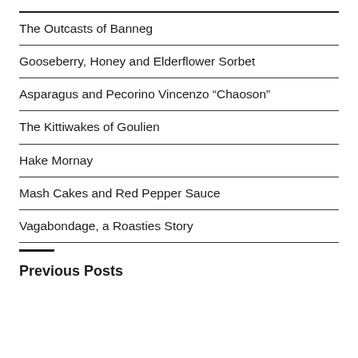The Outcasts of Banneg
Gooseberry, Honey and Elderflower Sorbet
Asparagus and Pecorino Vincenzo “Chaoson”
The Kittiwakes of Goulien
Hake Mornay
Mash Cakes and Red Pepper Sauce
Vagabondage, a Roasties Story
Previous Posts